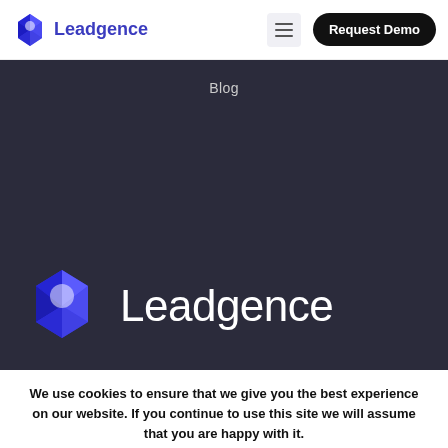Leadgence | Request Demo
Blog
[Figure (logo): Leadgence diamond/gem logo large, blue faceted gem with white center highlight, with text 'Leadgence' in white on dark background]
We use cookies to ensure that we give you the best experience on our website. If you continue to use this site we will assume that you are happy with it.
Ok  Privacy policy